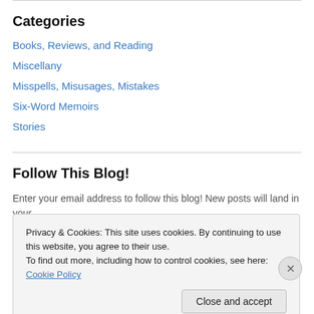Categories
Books, Reviews, and Reading
Miscellany
Misspells, Misusages, Mistakes
Six-Word Memoirs
Stories
Follow This Blog!
Enter your email address to follow this blog! New posts will land in your inbox.
Privacy & Cookies: This site uses cookies. By continuing to use this website, you agree to their use.
To find out more, including how to control cookies, see here: Cookie Policy